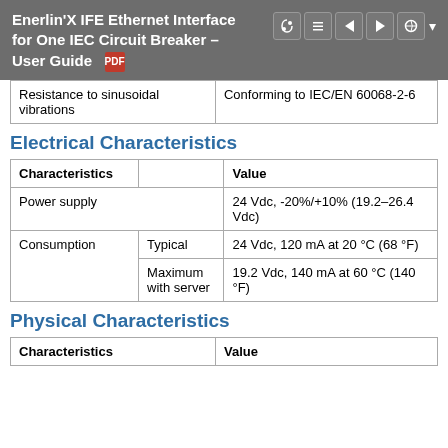Enerlin'X IFE Ethernet Interface for One IEC Circuit Breaker – User Guide
| Characteristics | Value |
| --- | --- |
| Resistance to sinusoidal vibrations | Conforming to IEC/EN 60068-2-6 |
Electrical Characteristics
| Characteristics |  | Value |
| --- | --- | --- |
| Power supply |  | 24 Vdc, -20%/+10% (19.2–26.4 Vdc) |
| Consumption | Typical | 24 Vdc, 120 mA at 20 °C (68 °F) |
|  | Maximum with server | 19.2 Vdc, 140 mA at 60 °C (140 °F) |
Physical Characteristics
| Characteristics | Value |
| --- | --- |